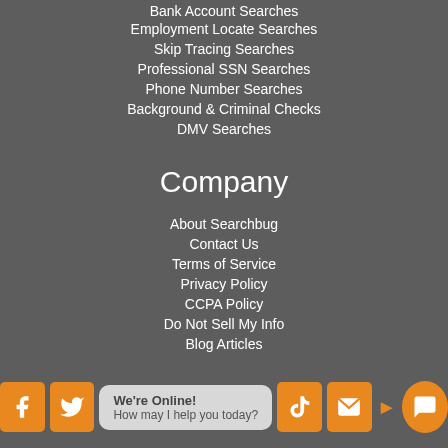Bank Account Searches
Employment Locate Searches
Skip Tracing Searches
Professional SSN Searches
Phone Number Searches
Background & Criminal Checks
DMV Searches
Company
About Searchbug
Contact Us
Terms of Service
Privacy Policy
CCPA Policy
Do Not Sell My Info
Blog Articles
[Figure (infographic): Social media icons (Facebook, Twitter, TikTok, message/email) in orange boxes, a chat bubble saying 'We're Online! How may I help you today?', and an orange chat button]